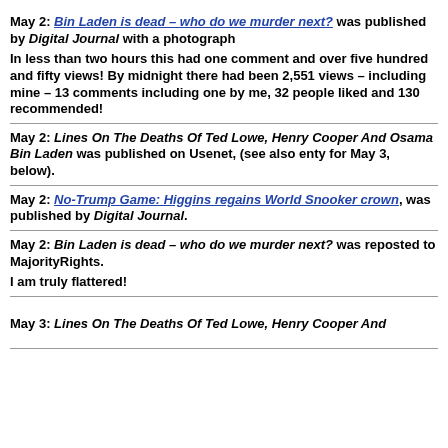May 2: Bin Laden is dead – who do we murder next? was published by Digital Journal with a photograph
In less than two hours this had one comment and over five hundred and fifty views! By midnight there had been 2,551 views – including mine – 13 comments including one by me, 32 people liked and 130 recommended!
May 2: Lines On The Deaths Of Ted Lowe, Henry Cooper And Osama Bin Laden was published on Usenet, (see also enty for May 3, below).
May 2: No-Trump Game: Higgins regains World Snooker crown, was published by Digital Journal.
May 2: Bin Laden is dead – who do we murder next? was reposted to MajorityRights.
I am truly flattered!
May 3: Lines On The Deaths Of Ted Lowe, Henry Cooper And